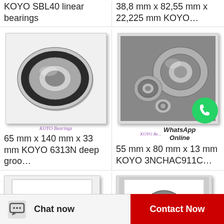KOYO SBL40 linear bearings
38,8 mm x 82,55 mm x 22,225 mm KOYO…
[Figure (photo): KOYO ball bearing - single bearing close-up photo with KOYO Bearings watermark]
[Figure (photo): Multiple KOYO bearings of different sizes with WhatsApp Online overlay]
65 mm x 140 mm x 33 mm KOYO 6313N deep groo…
55 mm x 80 mm x 13 mm KOYO 3NCHAC911C…
[Figure (photo): KOYO bearing product image (partially visible at bottom)]
[Figure (photo): KOYO bearing product image (partially visible at bottom right)]
Chat now
Contact Now